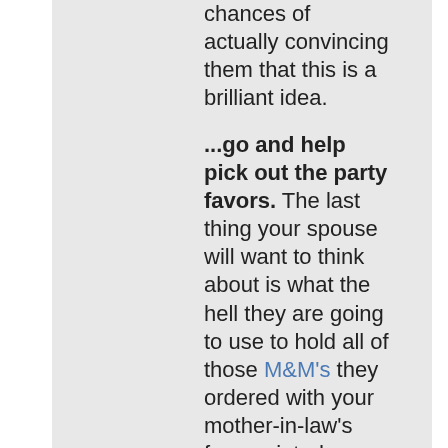chances of actually convincing them that this is a brilliant idea.

...go and help pick out the party favors. The last thing your spouse will want to think about is what the hell they are going to use to hold all of those M&M's they ordered with your mother-in-law's face painted on the candy shell. You might be able to convince your spouse that those little glass jars will work much better